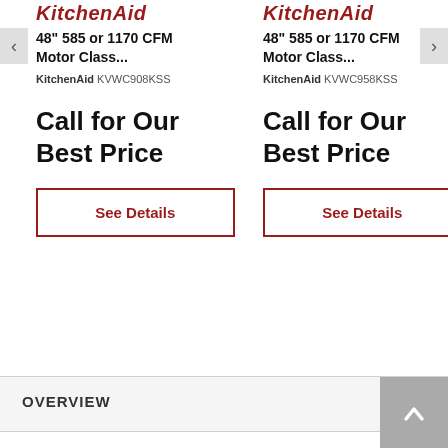[Figure (screenshot): Two-column product listing for KitchenAid range hoods with logos, titles, model numbers, prices, and See Details buttons, plus an Overview bar at the bottom.]
KitchenAid
48" 585 or 1170 CFM Motor Class...
KitchenAid KVWC908KSS
Call for Our Best Price
See Details
KitchenAid
48" 585 or 1170 CFM Motor Class...
KitchenAid KVWC958KSS
Call for Our Best Price
See Details
OVERVIEW